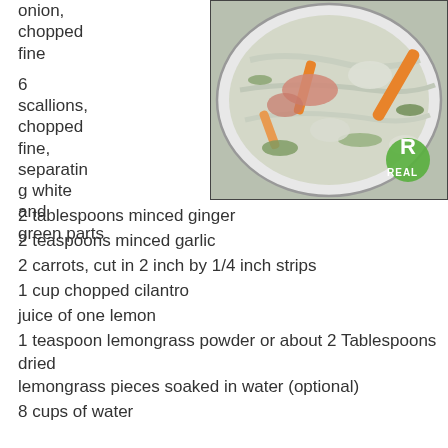onion, chopped fine
6 scallions, chopped fine, separating white and green parts
[Figure (photo): A bowl of soup with vegetables including carrots, cabbage, and scallions in a broth, with a green logo watermark reading 'REAL' in the bottom right corner.]
2 tablespoons minced ginger
2 teaspoons minced garlic
2 carrots, cut in 2 inch by 1/4 inch strips
1 cup chopped cilantro
juice of one lemon
1 teaspoon lemongrass powder or about 2 Tablespoons dried lemongrass pieces soaked in water (optional)
8 cups of water